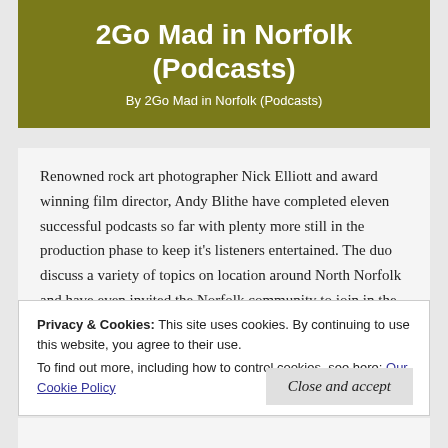2Go Mad in Norfolk (Podcasts)
By 2Go Mad in Norfolk (Podcasts)
Renowned rock art photographer Nick Elliott and award winning film director, Andy Blithe have completed eleven successful podcasts so far with plenty more still in the production phase to keep it's listeners entertained. The duo discuss a variety of topics on location around North Norfolk and have even invited the Norfolk community to join in the fun on some of the episodes.
Privacy & Cookies: This site uses cookies. By continuing to use this website, you agree to their use.
To find out more, including how to control cookies, see here: Our Cookie Policy
Close and accept